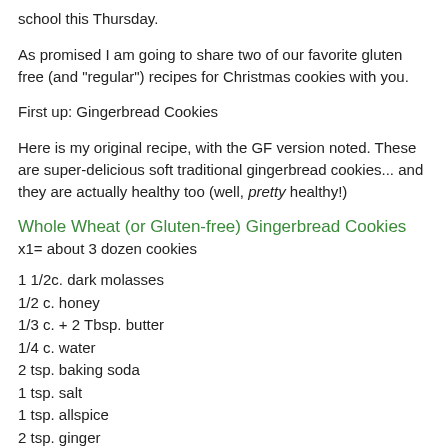school this Thursday.
As promised I am going to share two of our favorite gluten free (and "regular") recipes for Christmas cookies with you.
First up: Gingerbread Cookies
Here is my original recipe, with the GF version noted. These are super-delicious soft traditional gingerbread cookies... and they are actually healthy too (well, pretty healthy!)
Whole Wheat (or Gluten-free) Gingerbread Cookies
x1= about 3 dozen cookies
1 1/2c. dark molasses
1/2 c. honey
1/3 c. + 2 Tbsp. butter
1/4 c. water
2 tsp. baking soda
1 tsp. salt
1 tsp. allspice
2 tsp. ginger